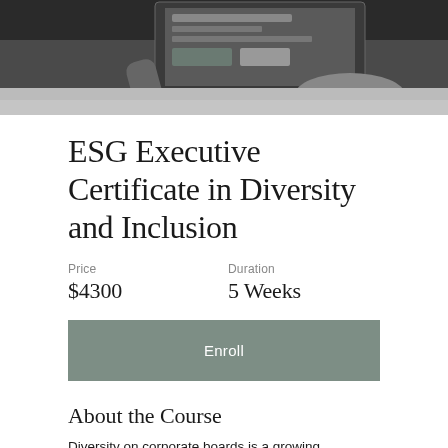[Figure (photo): Black and white photo of a person using a laptop/tablet at a desk, viewed from above at an angle.]
ESG Executive Certificate in Diversity and Inclusion
Price
$4300
Duration
5 Weeks
Enroll
About the Course
Diversity on corporate boards is a growing